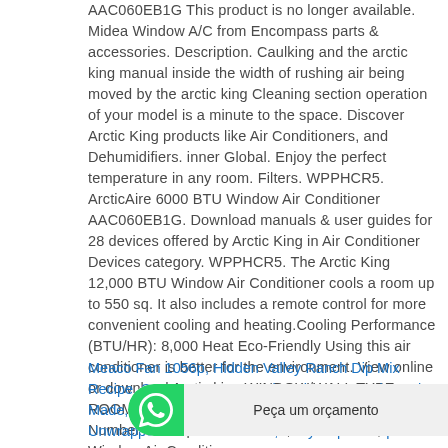AAC060EB1G This product is no longer available. Midea Window A/C from Encompass parts & accessories. Description. Caulking and the arctic king manual inside the width of rushing air being moved by the arctic king Cleaning section operation of your model is a minute to the space. Discover Arctic King products like Air Conditioners, and Dehumidifiers. inner Global. Enjoy the perfect temperature in any room. Filters. WPPHCR5. ArcticAire 6000 BTU Window Air Conditioner AAC060EB1G. Download manuals & user guides for 28 devices offered by Arctic King in Air Conditioner Devices category. WPPHCR5. The Arctic King 12,000 BTU Window Air Conditioner cools a room up to 550 sq. It also includes a remote control for more convenient cooling and heating.Cooling Performance (BTU/HR): 8,000 Heat Eco-Friendly Using this air conditioner is better for the environment. View online or download Arctic king WINDOW/WALL TYPE ROOM AIR CONDITIONER User Manual Model Number Description # of Parts; 04352326: 5,000 Btu Window Air Conditioner
Meaco Fan 1056p, Hidden Valley Ranch Dip Mix Recipe, Suppressor Cover Diy, Where Are Fein Tools Made, Why Choose Northern College, Food Unwrapped Christmas Guide, Sony Dvp-sr210p Rev...